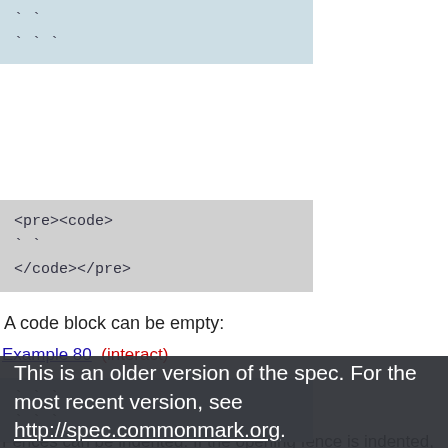[Figure (screenshot): Code block with light blue background showing backtick fence lines]
[Figure (screenshot): Code block with gray background showing <pre><code> ... </code></pre>]
A code block can be empty:
Example 80  (interact)
[Figure (screenshot): Code block with light blue background showing backtick fence lines (empty block)]
[Figure (screenshot): Overlay: This is an older version of the spec. For the most recent version, see http://spec.commonmark.org.]
Fences can be indented. If the opening fence is indented,